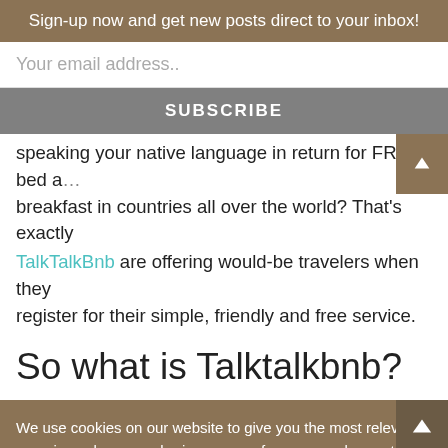Sign-up now and get new posts direct to your inbox!
Your email address..
SUBSCRIBE
speaking your native language in return for FREE bed and breakfast in countries all over the world? That's exactly TalkTalkBnb are offering would-be travelers when they register for their simple, friendly and free service.
So what is Talktalkbnb?
We use cookies on our website to give you the most relevant experience by remembering your preferences and repeat visits. By clicking "Accept All", you consent to the use of ALL the cookies. However, you may visit "Cookie Settings" to provide a controlled consent.
Cookie Settings
Accept All